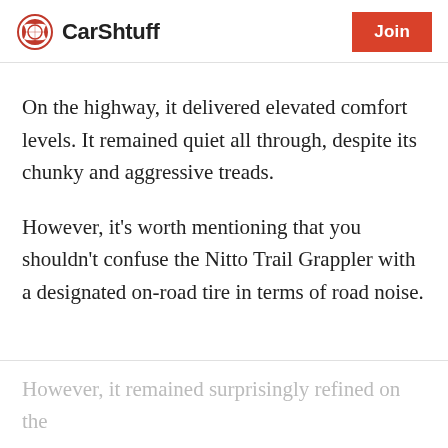CarShtuff | Join
On the highway, it delivered elevated comfort levels. It remained quiet all through, despite its chunky and aggressive treads.
However, it's worth mentioning that you shouldn't confuse the Nitto Trail Grappler with a designated on-road tire in terms of road noise.
However, it remained surprisingly refined on the